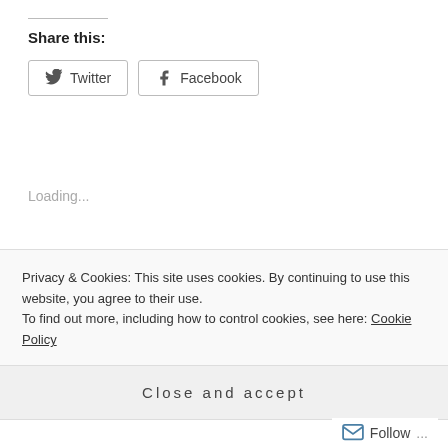Share this:
Twitter  Facebook
Loading...
Related
Station Eleven
“The Sweet Life” by Dulce
Privacy & Cookies: This site uses cookies. By continuing to use this website, you agree to their use.
To find out more, including how to control cookies, see here: Cookie Policy
Close and accept
Follow